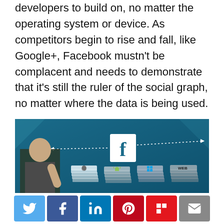developers to build on, no matter the operating system or device. As competitors begin to rise and fall, like Google+, Facebook mustn't be complacent and needs to demonstrate that it's still the ruler of the social graph, no matter where the data is being used.
[Figure (photo): Mark Zuckerberg presenting in front of a teal/blue backdrop showing the Facebook 'f' logo with dotted arrows and stacked platform icons (Apple, Android, Windows, Web) arranged in four columns of layered tiles.]
[Figure (infographic): Social sharing buttons bar: Twitter (blue bird), Facebook (blue f), LinkedIn (blue in), Pinterest (red P), Flipboard (red F), Email (grey envelope).]